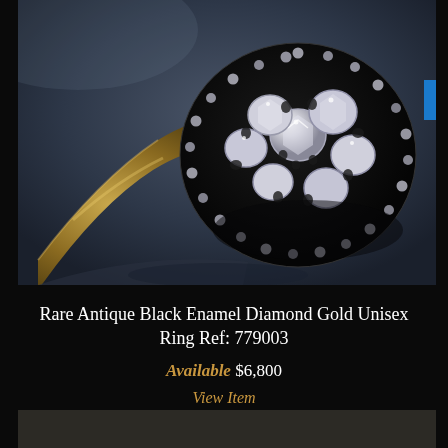[Figure (photo): Close-up photograph of a rare antique black enamel diamond gold unisex ring. The ring features a circular cluster of large diamonds set in white gold/silver on a black enamel base, surrounded by a halo of smaller pavé diamonds. The ring band is gold-toned. Shot against a dark dramatic background with reflection visible below the ring.]
Rare Antique Black Enamel Diamond Gold Unisex Ring Ref: 779003
Available $6,800
View Item